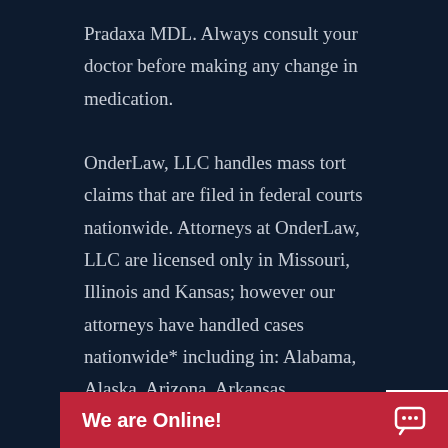Pradaxa MDL. Always consult your doctor before making any change in medication.

OnderLaw, LLC handles mass tort claims that are filed in federal courts nationwide. Attorneys at OnderLaw, LLC are licensed only in Missouri, Illinois and Kansas; however our attorneys have handled cases nationwide* including in: Alabama, Alaska, Arizona, Arkansas, California, Colorado, Connecticut, Delaware, Florida, Georgia, Hawaii, Idaho, Illinois, Indiana, Iowa, Kansas, Kentucky, Louisiana, Maine, Maryland, Massachusetts, Michigan, Minnesota, Mississippi, Missouri, Montana, Nebraska, Nevada, New Hampshire, New Jersey, New Mexico, New York, North Dakota, Ohio, Oklahoma, Oregon, Pennsylvania, Rhode Island, South Carolina, South Dakota, Tennessee, Texas, Utah, Vermont, Virginia, Washington, W
We are Online!